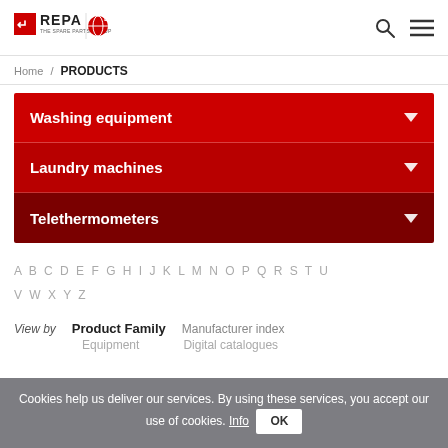REPA THE SPARE PARTS GROUP | LF logo | search | menu
Home / PRODUCTS
Washing equipment
Laundry machines
Telethermometers
A B C D E F G H I J K L M N O P Q R S T U V W X Y Z
View by   Product Family   Manufacturer index
Equipment   Digital catalogues
Cookies help us deliver our services. By using these services, you accept our use of cookies. Info  OK